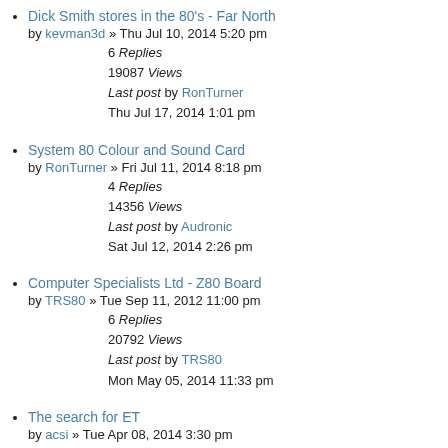Dick Smith stores in the 80's - Far North
by kevman3d » Thu Jul 10, 2014 5:20 pm
6 Replies
19087 Views
Last post by RonTurner
Thu Jul 17, 2014 1:01 pm
System 80 Colour and Sound Card
by RonTurner » Fri Jul 11, 2014 8:18 pm
4 Replies
14356 Views
Last post by Audronic
Sat Jul 12, 2014 2:26 pm
Computer Specialists Ltd - Z80 Board
by TRS80 » Tue Sep 11, 2012 11:00 pm
6 Replies
20792 Views
Last post by TRS80
Mon May 05, 2014 11:33 pm
The search for ET
by acsi » Tue Apr 08, 2014 3:30 pm
9 Replies
25509 Views
Last post by Carcenomy
Wed Apr 30, 2014 7:16 pm
Those old BBS days...